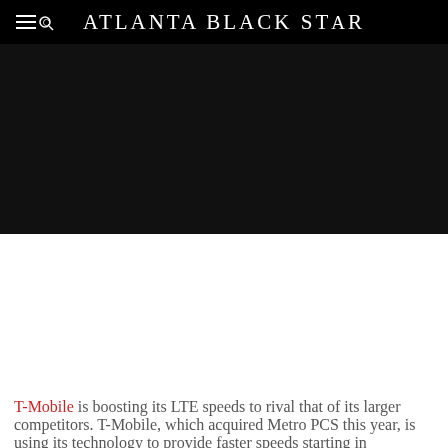Atlanta Black Star
[Figure (photo): Large dark/black hero image area below the navigation header]
T-Mobile is boosting its LTE speeds to rival that of its larger competitors. T-Mobile, which acquired Metro PCS this year, is using its technology to provide faster speeds starting in